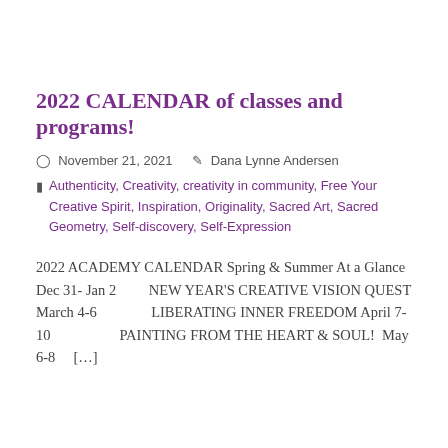2022 CALENDAR of classes and programs!
November 21, 2021   Dana Lynne Andersen
Authenticity, Creativity, creativity in community, Free Your Creative Spirit, Inspiration, Originality, Sacred Art, Sacred Geometry, Self-discovery, Self-Expression
2022 ACADEMY CALENDAR Spring & Summer At a Glance Dec 31- Jan 2      NEW YEAR'S CREATIVE VISION QUEST March 4-6         LIBERATING INNER FREEDOM April 7-10            PAINTING FROM THE HEART & SOUL!  May 6-8    [...]